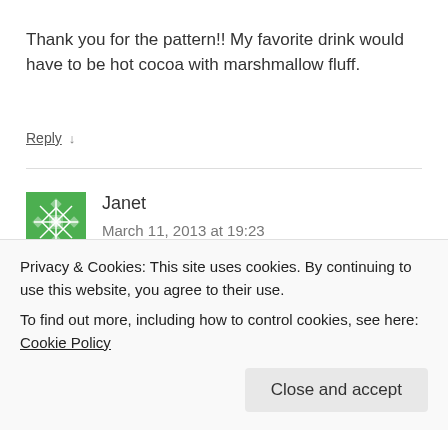Thank you for the pattern!! My favorite drink would have to be hot cocoa with marshmallow fluff.
Reply ↓
Janet
March 11, 2013 at 19:23
Soy chai lattea. Chai tea made with steamed soy milk and a
Privacy & Cookies: This site uses cookies. By continuing to use this website, you agree to their use.
To find out more, including how to control cookies, see here: Cookie Policy